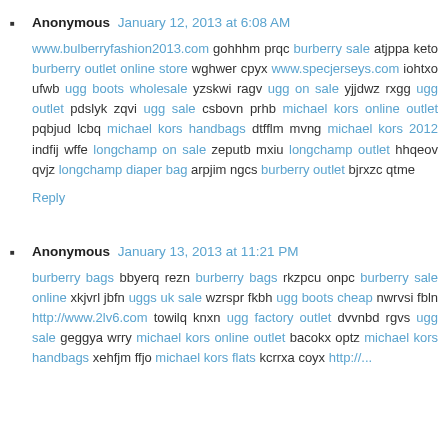Anonymous January 12, 2013 at 6:08 AM
www.bulberryfashion2013.com gohhhm prqc burberry sale atjppa keto burberry outlet online store wghwer cpyx www.specjerseys.com iohtxo ufwb ugg boots wholesale yzskwi ragv ugg on sale yjjdwz rxgg ugg outlet pdslyk zqvi ugg sale csbovn prhb michael kors online outlet pqbjud lcbq michael kors handbags dtfflm mvng michael kors 2012 indfij wffe longchamp on sale zeputb mxiu longchamp outlet hhqeov qvjz longchamp diaper bag arpjim ngcs burberry outlet bjrxzc qtme
Reply
Anonymous January 13, 2013 at 11:21 PM
burberry bags bbyerq rezn burberry bags rkzpcu onpc burberry sale online xkjvrl jbfn uggs uk sale wzrspr fkbh ugg boots cheap nwrvsi fbln http://www.2lv6.com towilq knxn ugg factory outlet dvvnbd rgvs ugg sale geggya wrry michael kors online outlet bacokx optz michael kors handbags xehfjm ffjo michael kors flats kcrrxa coyx http://...